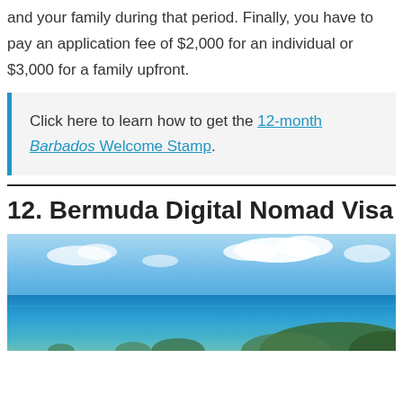and your family during that period. Finally, you have to pay an application fee of $2,000 for an individual or $3,000 for a family upfront.
Click here to learn how to get the 12-month Barbados Welcome Stamp.
12. Bermuda Digital Nomad Visa
[Figure (photo): Aerial or elevated view of Bermuda coastline showing turquoise ocean water, small islands with green vegetation, and a blue sky with white clouds.]